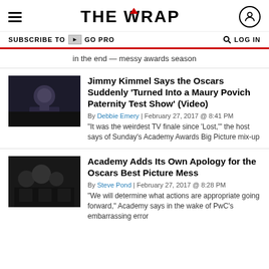THE WRAP
SUBSCRIBE TO GO PRO   LOG IN
in the end — messy awards season
Jimmy Kimmel Says the Oscars Suddenly 'Turned Into a Maury Povich Paternity Test Show' (Video)
By Debbie Emery | February 27, 2017 @ 8:41 PM
"It was the weirdest TV finale since 'Lost,'" the host says of Sunday's Academy Awards Big Picture mix-up
Academy Adds Its Own Apology for the Oscars Best Picture Mess
By Steve Pond | February 27, 2017 @ 8:28 PM
"We will determine what actions are appropriate going forward," Academy says in the wake of PwC's embarrassing error